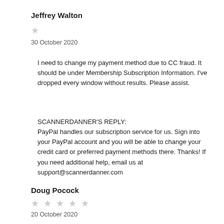Jeffrey Walton
★
30 October 2020
I need to change my payment method due to CC fraud. It should be under Membership Subscription Information. I've dropped every window without results. Please assist.
SCANNERDANNER'S REPLY:
PayPal handles our subscription service for us. Sign into your PayPal account and you will be able to change your credit card or preferred payment methods there. Thanks! If you need additional help, email us at support@scannerdanner.com
Doug Pocock
★ ★ ★ ★ ★
20 October 2020